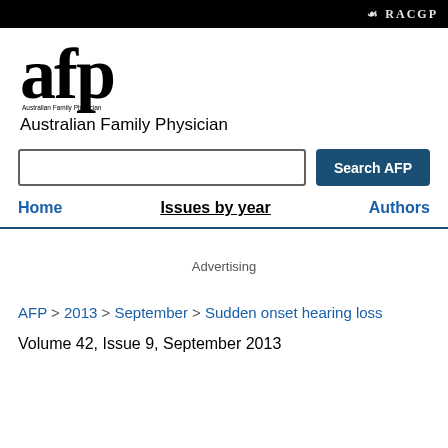RACGP
[Figure (logo): AFP Australian Family Physician logo with large 'afp' text and subtitle 'Australian Family Physician']
Australian Family Physician
Search AFP (search input and button)
Home | Issues by year | Authors
Advertising
AFP > 2013 > September > Sudden onset hearing loss
Volume 42, Issue 9, September 2013